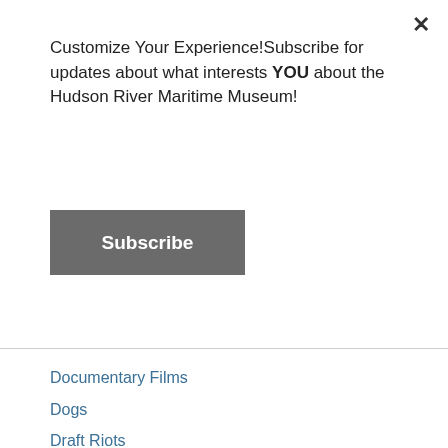Customize Your Experience!Subscribe for updates about what interests YOU about the Hudson River Maritime Museum!
Subscribe
Documentary Films
Dogs
Draft Riots
Drydock
Duck Hunting
Dutch
Dutch East India Company
Duty To Rescue
Earth Day
Ed Carpenter
Eddyville
E. E. Olcott
Electricity